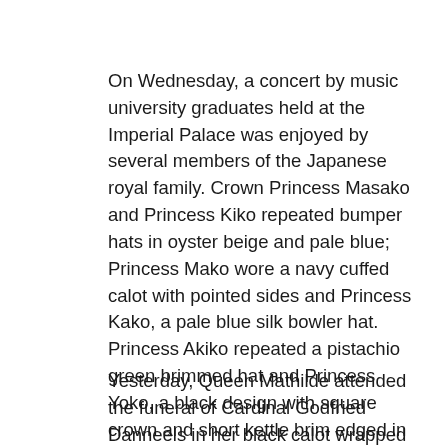On Wednesday, a concert by music university graduates held at the Imperial Palace was enjoyed by several members of the Japanese royal family. Crown Princess Masako and Princess Kiko repeated bumper hats in oyster beige and pale blue; Princess Mako wore a navy cuffed calot with pointed sides and Princess Kako, a pale blue silk bowler hat. Princess Akiko repeated a pistachio green brimmed hat and Princess Yoko, a black design with square crown and short kettle brim edged in trim.
Yesterday, Queen Mathilde attended the funeral of Cardinal Godfried Danneels in her black calot wrapped in overlaid wide stripes of textured black